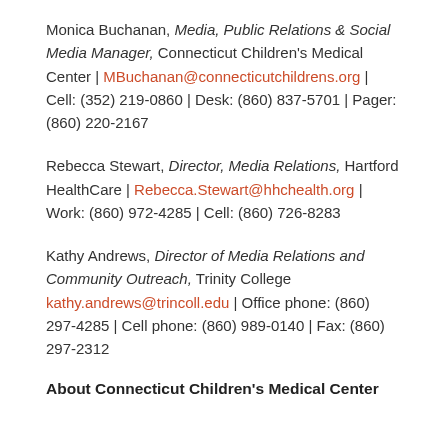Monica Buchanan, Media, Public Relations & Social Media Manager, Connecticut Children's Medical Center | MBuchanan@connecticutchildrens.org | Cell: (352) 219-0860 | Desk: (860) 837-5701 | Pager: (860) 220-2167
Rebecca Stewart, Director, Media Relations, Hartford HealthCare | Rebecca.Stewart@hhchealth.org | Work: (860) 972-4285 | Cell: (860) 726-8283
Kathy Andrews, Director of Media Relations and Community Outreach, Trinity College kathy.andrews@trincoll.edu | Office phone: (860) 297-4285 | Cell phone: (860) 989-0140 | Fax: (860) 297-2312
About Connecticut Children's Medical Center